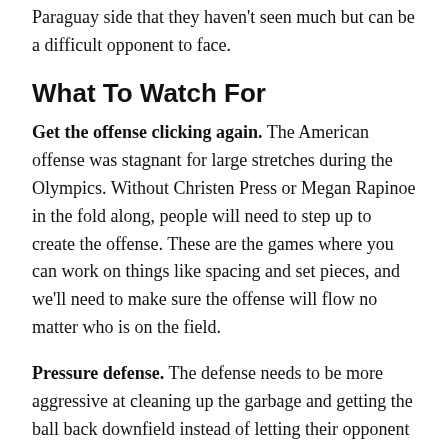Paraguay side that they haven't seen much but can be a difficult opponent to face.
What To Watch For
Get the offense clicking again. The American offense was stagnant for large stretches during the Olympics. Without Christen Press or Megan Rapinoe in the fold along, people will need to step up to create the offense. These are the games where you can work on things like spacing and set pieces, and we'll need to make sure the offense will flow no matter who is on the field.
Pressure defense. The defense needs to be more aggressive at cleaning up the garbage and getting the ball back downfield instead of letting their opponent come at them and dictate the pace. The defense was